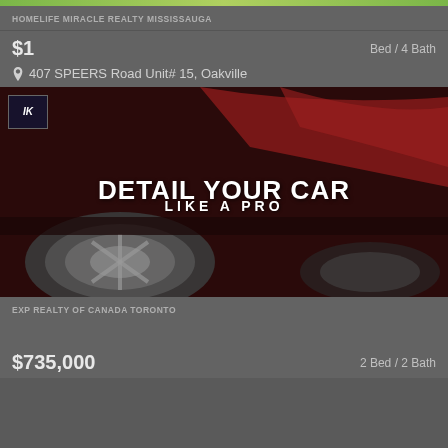[Figure (photo): Top colored bar stripe (green gradient)]
HOMELIFE MIRACLE REALTY MISSISSAUGA
$1
Bed / 4 Bath
407 SPEERS Road Unit# 15, Oakville
[Figure (photo): Car detailing advertisement image with dark red background showing chrome wheels and car parts. Text overlay reads 'DETAIL YOUR CAR LIKE A PRO' with a logo in top-left corner.]
EXP REALTY OF CANADA TORONTO
$735,000
2 Bed / 2 Bath